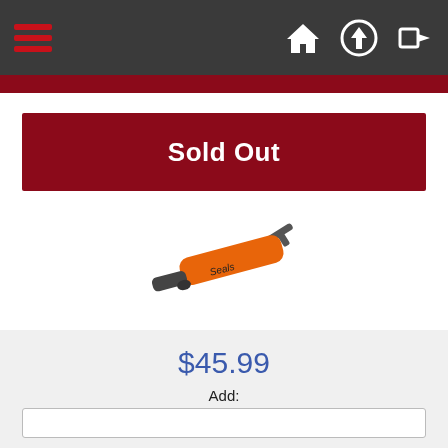Navigation bar with hamburger menu and icons (home, upload, login)
Sold Out
[Figure (photo): Orange Seals bilge pump on a white background, diagonal orientation with T-handle visible]
Seals Bilge Pump
The essential piece of safety gear for all kayakers and many small boaters. The...
$45.99
Add: